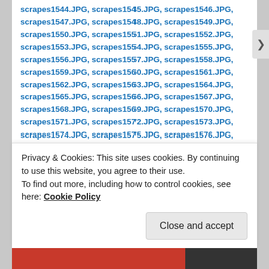scrapes1544.JPG, scrapes1545.JPG, scrapes1546.JPG, scrapes1547.JPG, scrapes1548.JPG, scrapes1549.JPG, scrapes1550.JPG, scrapes1551.JPG, scrapes1552.JPG, scrapes1553.JPG, scrapes1554.JPG, scrapes1555.JPG, scrapes1556.JPG, scrapes1557.JPG, scrapes1558.JPG, scrapes1559.JPG, scrapes1560.JPG, scrapes1561.JPG, scrapes1562.JPG, scrapes1563.JPG, scrapes1564.JPG, scrapes1565.JPG, scrapes1566.JPG, scrapes1567.JPG, scrapes1568.JPG, scrapes1569.JPG, scrapes1570.JPG, scrapes1571.JPG, scrapes1572.JPG, scrapes1573.JPG, scrapes1574.JPG, scrapes1575.JPG, scrapes1576.JPG, scrapes1577.JPG, scrapes1578.JPG, scrapes1579.JPG, scrapes1580.JPG, scrapes1581.JPG, scrapes1582.JPG, scrapes1583.JPG, scrapes1584.JPG, scrapes1585.JPG, scrapes1586.JPG, scrapes1587.JPG, scrapes1588.JPG, scrapes1589.JPG, scrapes1590.JPG, scrapes1591.JPG, scrapes1592.JPG, scrapes1593.JPG, scrapes1594.JPG
Privacy & Cookies: This site uses cookies. By continuing to use this website, you agree to their use. To find out more, including how to control cookies, see here: Cookie Policy